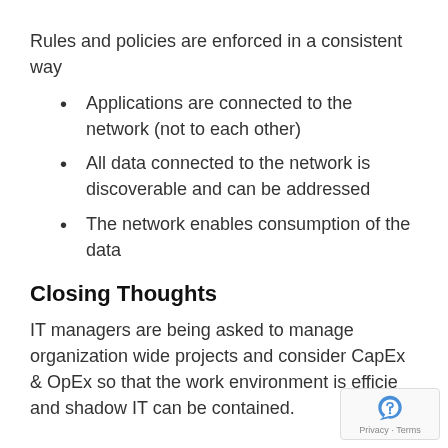Rules and policies are enforced in a consistent way
Applications are connected to the network (not to each other)
All data connected to the network is discoverable and can be addressed
The network enables consumption of the data
Closing Thoughts
IT managers are being asked to manage organization wide projects and consider CapEx & OpEx so that the work environment is efficient and shadow IT can be contained.